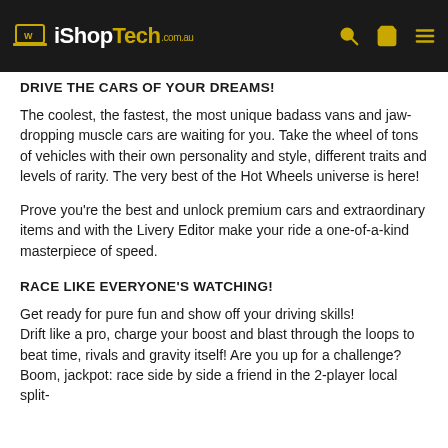iShopTech.com.au
DRIVE THE CARS OF YOUR DREAMS!
The coolest, the fastest, the most unique badass vans and jaw-dropping muscle cars are waiting for you. Take the wheel of tons of vehicles with their own personality and style, different traits and levels of rarity. The very best of the Hot Wheels universe is here!
Prove you're the best and unlock premium cars and extraordinary items and with the Livery Editor make your ride a one-of-a-kind masterpiece of speed.
RACE LIKE EVERYONE'S WATCHING!
Get ready for pure fun and show off your driving skills!
Drift like a pro, charge your boost and blast through the loops to beat time, rivals and gravity itself! Are you up for a challenge?
Boom, jackpot: race side by side a friend in the 2-player local split-